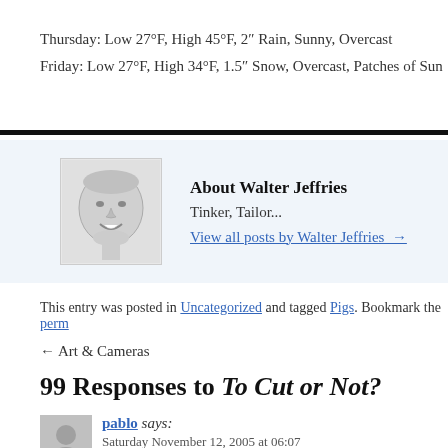Thursday: Low 27°F, High 45°F, 2″ Rain, Sunny, Overcast
Friday: Low 27°F, High 34°F, 1.5″ Snow, Overcast, Patches of Sun
[Figure (photo): Black and white portrait photo of Walter Jeffries, smiling]
About Walter Jeffries
Tinker, Tailor...
View all posts by Walter Jeffries →
This entry was posted in Uncategorized and tagged Pigs. Bookmark the perm
← Art & Cameras
99 Responses to To Cut or Not?
[Figure (photo): Generic user avatar silhouette for commenter pablo]
pablo says:
Saturday November 12, 2005 at 06:07